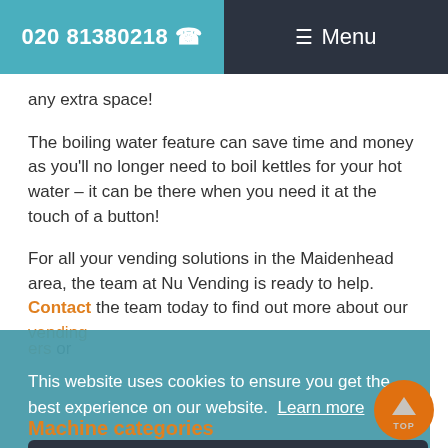020 81380218  ☎  ≡ Menu
any extra space!
The boiling water feature can save time and money as you'll no longer need to boil kettles for your hot water – it can be there when you need it at the touch of a button!
For all your vending solutions in the Maidenhead area, the team at Nu Vending is ready to help. Contact the team today to find out more about our vending [machines/dispensers] or
This website uses cookies to ensure you get the best experience on our website. Learn more
Dismiss notice
Machine categories